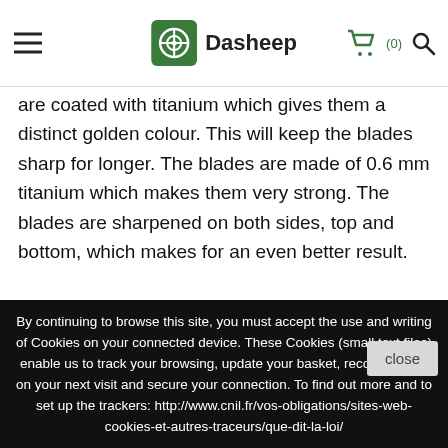Dasheep
are coated with titanium which gives them a distinct golden colour. This will keep the blades sharp for longer. The blades are made of 0.6 mm titanium which makes them very strong. The blades are sharpened on both sides, top and bottom, which makes for an even better result.
Free shipping
Secure payment
French company
By continuing to browse this site, you must accept the use and writing of Cookies on your connected device. These Cookies (small text files) enable us to track your browsing, update your basket, recognise you on your next visit and secure your connection. To find out more and to set up the trackers: http://www.cnil.fr/vos-obligations/sites-web-cookies-et-autres-traceurs/que-dit-la-loi/